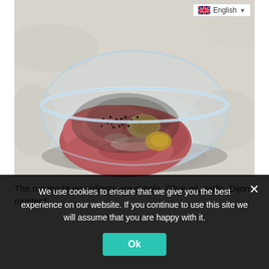[Figure (photo): A glass bowl containing raw meat pieces topped with minced garlic and ground black pepper/spices, photographed on a light marble or stone surface. A language selector dropdown showing a UK flag and 'English' appears in the top right corner of the image.]
The marinade ingredients are simple. Olive oil, garlic, Dijon mustard,
We use cookies to ensure that we give you the best experience on our website. If you continue to use this site we will assume that you are happy with it.